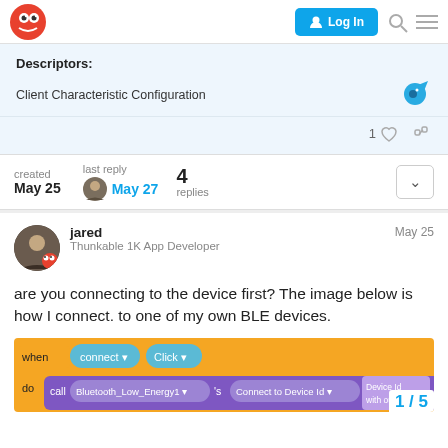Log In (navigation bar with logo, login button, search, menu)
Descriptors:
Client Characteristic Configuration
1 (like) (link icon)
created May 25   last reply May 27   4 replies
jared  May 25
Thunkable 1K App Developer
are you connecting to the device first? The image below is how I connect. to one of my own BLE devices.
[Figure (screenshot): Thunkable block code showing: when connect Click, do call Bluetooth_Low_Energy1's Connect to Device Id, with Device Id and with outputs fields]
1 / 5